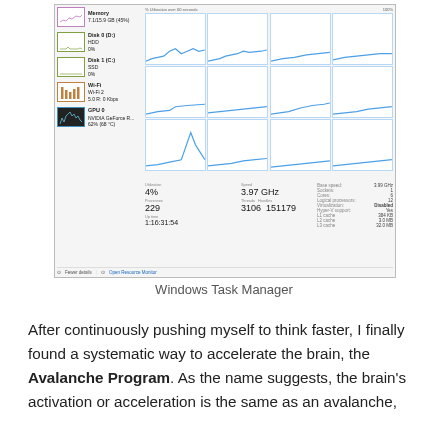[Figure (screenshot): Windows Task Manager screenshot showing CPU utilization graphs (4% utilization, 3.97 GHz speed), memory (7.1/15.9 GB, 45%), Disk 0 (D:) HDD 0%, Disk 1 (C:) SSD 0%, Wi-Fi, GPU 0 NVIDIA GeForce R... 62% (68°C). CPU stats: Base speed 3.99 GHz, Sockets 1, Cores 6, Logical processors 12, Virtualization Disabled, Hyper-V support Yes, L1 cache 384 KB, L2 cache 3.0 MB, L3 cache 32.0 MB. Processes 229, Threads 3106, Handles 151179. Up time 1:16:31:54.]
Windows Task Manager
After continuously pushing myself to think faster, I finally found a systematic way to accelerate the brain, the Avalanche Program. As the name suggests, the brain's activation or acceleration is the same as an avalanche,